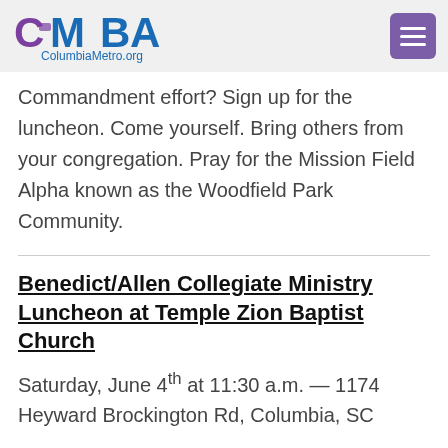ColumbiaMetro.org
Commandment effort? Sign up for the luncheon. Come yourself. Bring others from your congregation. Pray for the Mission Field Alpha known as the Woodfield Park Community.
Benedict/Allen Collegiate Ministry Luncheon at Temple Zion Baptist Church
Saturday, June 4th at 11:30 a.m. — 1174 Heyward Brockington Rd, Columbia, SC